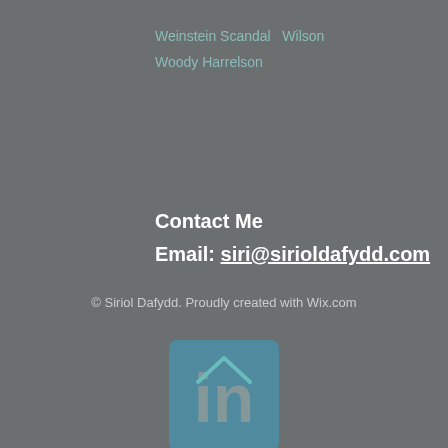Weinstein Scandal   Wilson
Woody Harrelson
Contact Me
Email: siri@sirioldafydd.com
[Figure (logo): LinkedIn logo - blue rounded square with 'in' text in grey/white]
© Siriol Dafydd. Proudly created with Wix.com
[Figure (illustration): Upward-pointing chevron/caret arrow in teal color]